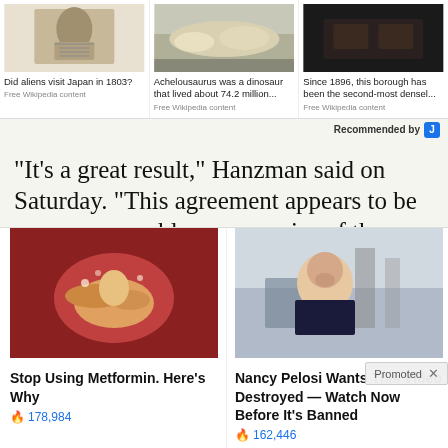[Figure (photo): Three recommended article thumbnails: ancient Japanese illustration, dinosaur fossil, and dark animal photo]
Did aliens visit Japan in 1803? Free Wikipedia content
Achelousaurus was a dinosaur that lived about 74.2 million... Free Wikipedia content
Since 1896, this borough has been the second-most densel... Free Wikipedia content
Recommended by J
“It’s a great result,” Hanzman said on Saturday. “This agreement appears to be a very reasonable compromise of the claims.”
The over one-billion-dollar agreement comes as a class-action settlement and as the d
Promoted ×
[Figure (photo): Close-up medical/biological image of intestine or organ tissue]
[Figure (photo): Woman smiling outdoors near industrial building, identified as Nancy Pelosi]
Stop Using Metformin. Here's Why
🔥 178,984
Nancy Pelosi Wants This Video Destroyed — Watch Now Before It’s Banned
🔥 162,446